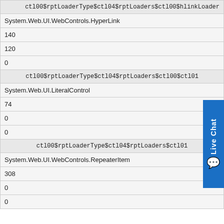| ctl00$rptLoaderType$ctl04$rptLoaders$ctl00$hlinkLoader |
| System.Web.UI.WebControls.HyperLink |
| 140 |
| 120 |
| 0 |
| ctl00$rptLoaderType$ctl04$rptLoaders$ctl00$ctl01 |
| System.Web.UI.LiteralControl |
| 74 |
| 0 |
| 0 |
| ctl00$rptLoaderType$ctl04$rptLoaders$ctl01 |
| System.Web.UI.WebControls.RepeaterItem |
| 308 |
| 0 |
| 0 |